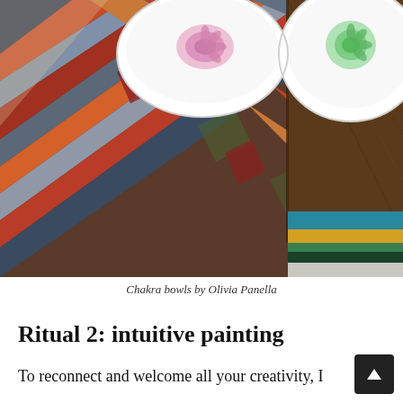[Figure (photo): Overhead photo showing two white bowls on a colorful striped rug and wooden floor. Left bowl contains pink powder forming a mandala pattern, right bowl contains green powder forming a mandala pattern. The rug has stripes in red, orange, blue, gray, and green. Bottom right corner shows a striped textile with teal, yellow, and dark green colors.]
Chakra bowls by Olivia Panella
Ritual 2: intuitive painting
To reconnect and welcome all your creativity, I